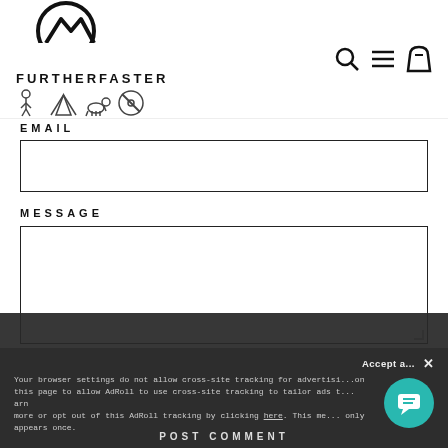[Figure (logo): FurtherFaster logo with mountain/circle icon and activity icons (hiker, tent, dog, no-leash)]
EMAIL
MESSAGE
Please note, comments must be approved be...
Your browser settings do not allow cross-site tracking for advertising. Click on this page to allow AdRoll to use cross-site tracking to tailor ads to you. Learn more or opt out of this AdRoll tracking by clicking here. This message only appears once.
POST COMMENT